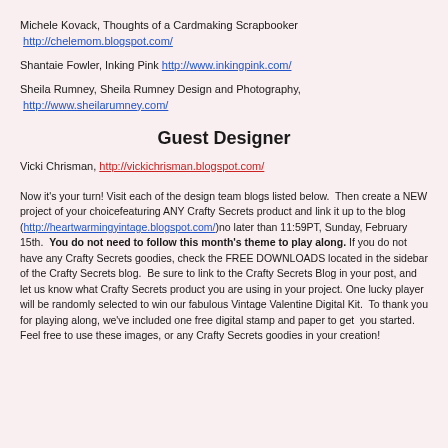Michele Kovack, Thoughts of a Cardmaking Scrapbooker  http://chelemom.blogspot.com/
Shantaie Fowler, Inking Pink http://www.inkingpink.com/
Sheila Rumney, Sheila Rumney Design and Photography,  http://www.sheilarumney.com/
Guest Designer
Vicki Chrisman, http://vickichrisman.blogspot.com/
Now it's your turn! Visit each of the design team blogs listed below. Then create a NEW project of your choicefeaturing ANY Crafty Secrets product and link it up to the blog (http://heartwarmingyintage.blogspot.com/)no later than 11:59PT, Sunday, February 15th. You do not need to follow this month's theme to play along. If you do not have any Crafty Secrets goodies, check the FREE DOWNLOADS located in the sidebar of the Crafty Secrets blog. Be sure to link to the Crafty Secrets Blog in your post, and let us know what Crafty Secrets product you are using in your project. One lucky player will be randomly selected to win our fabulous Vintage Valentine Digital Kit. To thank you for playing along, we've included one free digital stamp and paper to get you started. Feel free to use these images, or any Crafty Secrets goodies in your creation!